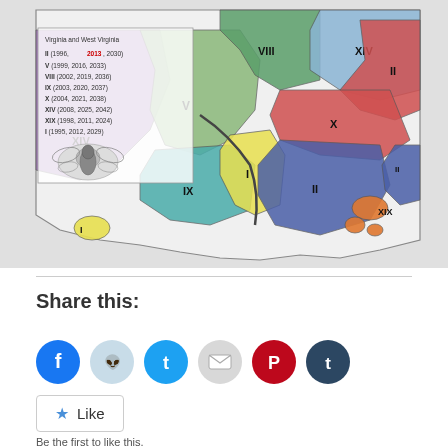[Figure (map): Map of Virginia and West Virginia showing periodical cicada brood regions labeled with Roman numerals (I, II, V, VIII, IX, X, XIV, XIX) in different colors (green, purple, teal, yellow, red, blue, orange), with a legend showing brood years and a cicada illustration in the lower left of the legend area.]
Share this:
[Figure (infographic): Row of social media share icons: Facebook (blue circle), Reddit (light blue circle), Twitter (cyan circle), Email (light gray circle), Pinterest (dark red circle), Tumblr (dark navy circle)]
Like